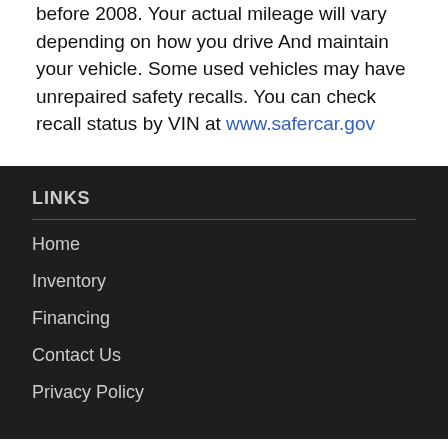before 2008. Your actual mileage will vary depending on how you drive And maintain your vehicle. Some used vehicles may have unrepaired safety recalls. You can check recall status by VIN at www.safercar.gov
LINKS
Home
Inventory
Financing
Contact Us
Privacy Policy